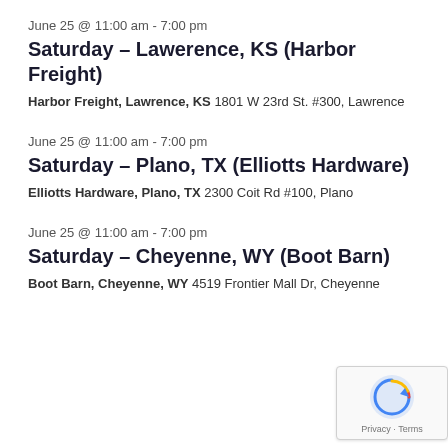June 25 @ 11:00 am - 7:00 pm
Saturday – Lawerence, KS (Harbor Freight)
Harbor Freight, Lawrence, KS 1801 W 23rd St. #300, Lawrence
June 25 @ 11:00 am - 7:00 pm
Saturday – Plano, TX (Elliotts Hardware)
Elliotts Hardware, Plano, TX 2300 Coit Rd #100, Plano
June 25 @ 11:00 am - 7:00 pm
Saturday – Cheyenne, WY (Boot Barn)
Boot Barn, Cheyenne, WY 4519 Frontier Mall Dr, Cheyenne